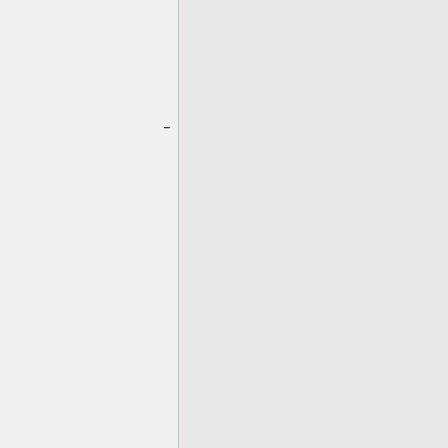hup://repertoire/RepertoireLookup.aspx – use this tool to check whether the third party material you seek to copy is on the exclusions list or not.
:
:2. '''Permissions request form''' - https://rms.accesscopyright.ca/rploo